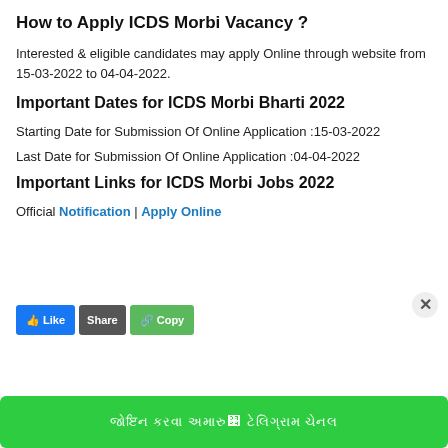How to Apply ICDS Morbi Vacancy ?
Interested & eligible candidates may apply Online through website from 15-03-2022 to 04-04-2022.
Important Dates for ICDS Morbi Bharti 2022
Starting Date for Submission Of Online Application :15-03-2022
Last Date for Submission Of Online Application :04-04-2022
Important Links for ICDS Morbi Jobs 2022
Official Notification | Apply Online
[Figure (screenshot): Share buttons row: blue Facebook-style button, dark grey button, green button, with a close (×) icon to the right. Below is a large green banner with Gujarati text.]